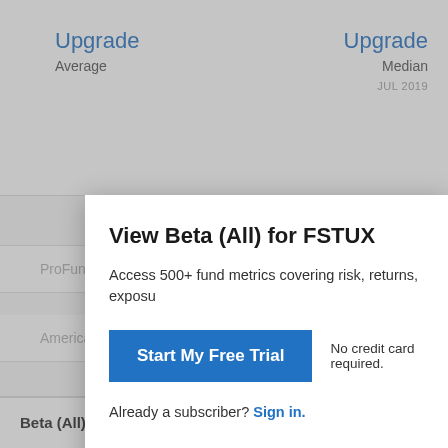Upgrade
Average
Upgrade
Median
JUL 2019
View Beta (All) for FSTUX
Access 500+ fund metrics covering risk, returns, exposu
Start My Free Trial
No credit card required.
Already a subscriber? Sign in.
ProFunds Large Cap Value Inv
American Century Equity Income Inv
Beta (All) Related Metrics